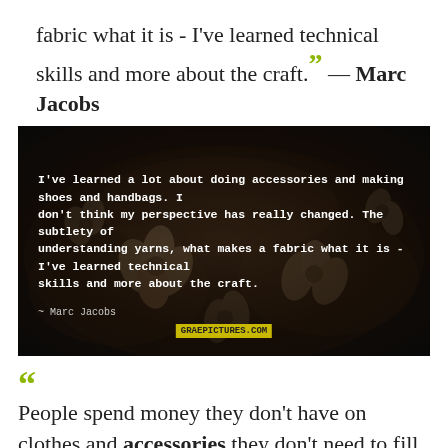fabric what it is - I've learned technical skills and more about the craft.” — Marc Jacobs
[Figure (photo): Dark floral background image with white bold text overlay of Marc Jacobs quote about accessories, yarns and craft. Attribution '~ Marc Jacobs' below quote text. Yellow watermark text at bottom center.]
“People spend money they don't have on clothes and accessories they don't need to fill a void. No matter how much they invest in their own physical reconstruction (or in some cases